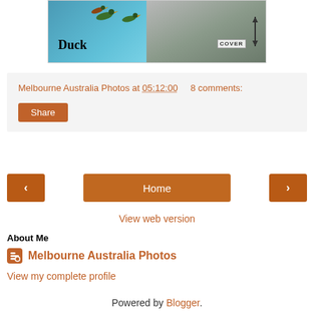[Figure (photo): Partial view of a nature/wildlife book cover showing ducks flying over coastal cliffs and blue sea, with text 'Duck' and 'COVER' label visible]
Melbourne Australia Photos at 05:12:00   8 comments:
Share
‹
Home
›
View web version
About Me
Melbourne Australia Photos
View my complete profile
Powered by Blogger.